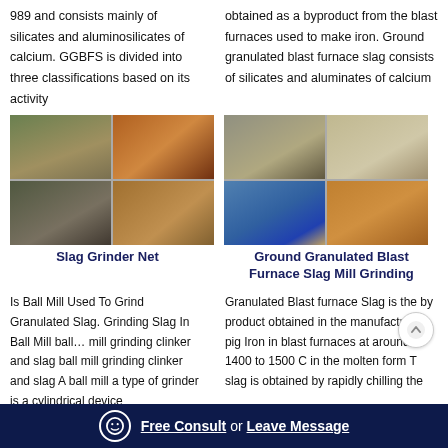989 and consists mainly of silicates and aluminosilicates of calcium. GGBFS is divided into three classifications based on its activity
obtained as a byproduct from the blast furnaces used to make iron. Ground granulated blast furnace slag consists of silicates and aluminates of calcium
[Figure (photo): Slag Grinder Net - four photos showing quarry/mining and grinding equipment and slag piles]
Slag Grinder Net
[Figure (photo): Ground Granulated Blast Furnace Slag Mill Grinding - four photos showing mining operations and machinery]
Ground Granulated Blast Furnace Slag Mill Grinding
Is Ball Mill Used To Grind Granulated Slag. Grinding Slag In Ball Mill ball… mill grinding clinker and slag ball mill grinding clinker and slag A ball mill a type of grinder is a cylindrical device
Granulated Blast furnace Slag is the by product obtained in the manufacture… pig Iron in blast furnaces at around 1400 to 1500 C in the molten form T slag is obtained by rapidly chilling the
Free Consult or Leave Message